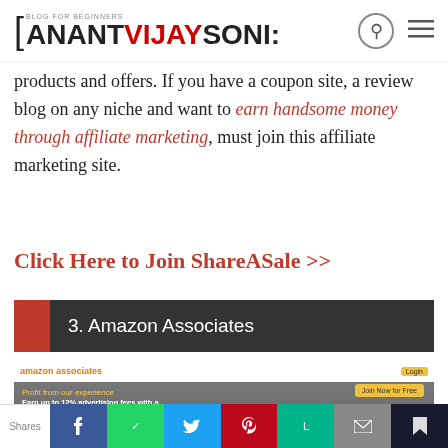[ANANT VIJAY SONI:
products and offers. If you have a coupon site, a review blog on any niche and want to earn handsome money through affiliate marketing, must join this affiliate marketing site.
Click Here to Join ShareASale >>
3. Amazon Associates
[Figure (screenshot): Amazon Associates website screenshot showing 'Earn up to 12% advertising fees with a trusted e-commerce leader' with a Join Now for Free button and product images]
Shares | Facebook | WhatsApp | Twitter | Pinterest | Line | Email | Bookmark